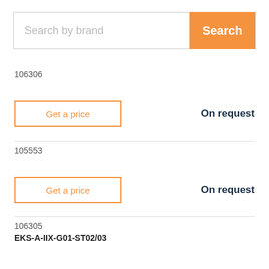[Figure (screenshot): Search bar with placeholder text 'Search by brand' and an orange 'Search' button on the right]
106306
Get a price
On request
105553
Get a price
On request
106305
EKS-A-IIX-G01-ST02/03